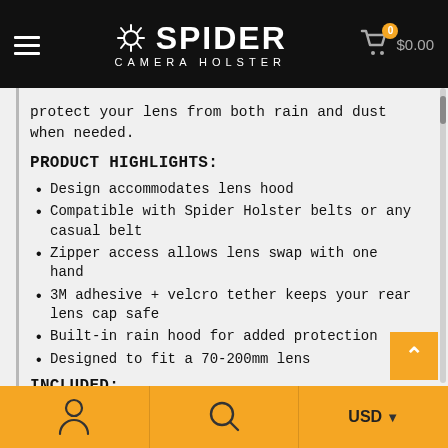Spider Camera Holster — $0.00 cart
protect your lens from both rain and dust when needed.
PRODUCT HIGHLIGHTS:
Design accommodates lens hood
Compatible with Spider Holster belts or any casual belt
Zipper access allows lens swap with one hand
3M adhesive + velcro tether keeps your rear lens cap safe
Built-in rain hood for added protection
Designed to fit a 70-200mm lens
INCLUDED:
USD